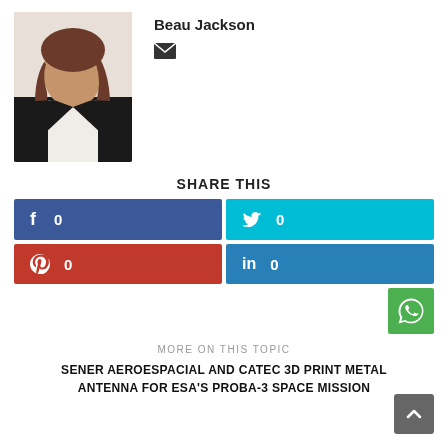[Figure (photo): Portrait photo of Beau Jackson, a woman with long brown-red hair wearing a black blazer and white shirt]
Beau Jackson
[Figure (other): Email envelope icon]
SHARE THIS
[Figure (infographic): Social share buttons: Facebook (0), Twitter (0), Pinterest (0), LinkedIn (0), WhatsApp]
MORE ON THIS TOPIC
SENER AEROESPACIAL AND CATEC 3D PRINT METAL ANTENNA FOR ESA'S PROBA-3 SPACE MISSION